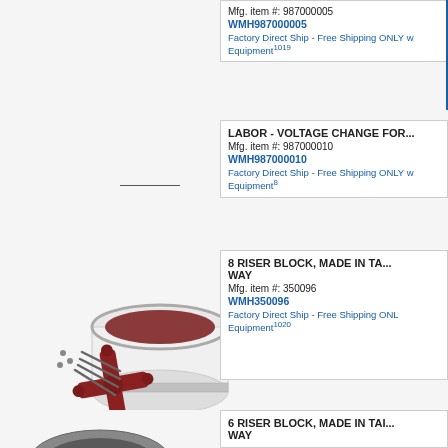Mfg. item #: 987000005
WMH987000005
Factory Direct Ship - Free Shipping ONLY w Equipment^1019
LABOR - VOLTAGE CHANGE FOR...
Mfg. item #: 987000010
WMH987000010
Factory Direct Ship - Free Shipping ONLY w Equipment^8
[Figure (photo): Photo of an 8 riser block kit: a white cylindrical block, a red cross-shaped piece, and several screws/bolts]
8 RISER BLOCK, MADE IN TAI... WAY
Mfg. item #: 350096
WMH350096
Factory Direct Ship - Free Shipping ONL Equipment^1020
[Figure (photo): Partial photo of a 6 riser block item]
6 RISER BLOCK, MADE IN TAI... WAY